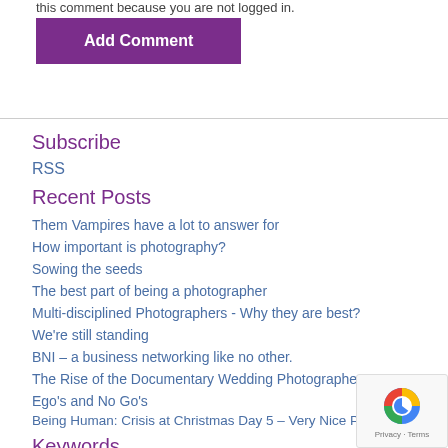this comment because you are not logged in.
Add Comment
Subscribe
RSS
Recent Posts
Them Vampires have a lot to answer for
How important is photography?
Sowing the seeds
The best part of being a photographer
Multi-disciplined Photographers - Why they are best?
We're still standing
BNI – a business networking like no other.
The Rise of the Documentary Wedding Photographer
Ego's and No Go's
Being Human: Crisis at Christmas Day 5 – Very Nice People.
Keywords